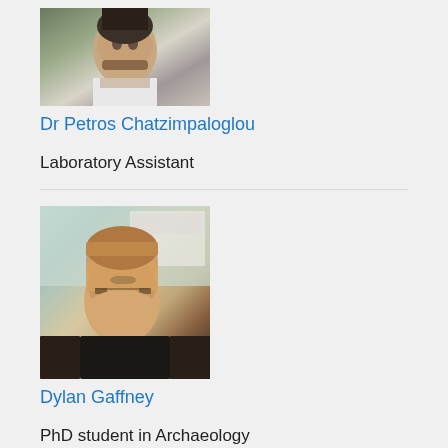[Figure (photo): Profile photo of Dr Petros Chatzimpaloglou, a bearded man smiling outdoors]
Dr Petros Chatzimpaloglou
Laboratory Assistant
[Figure (photo): Profile photo of Dylan Gaffney, a young man with red/auburn hair and beard wearing glasses]
Dylan Gaffney
PhD student in Archaeology